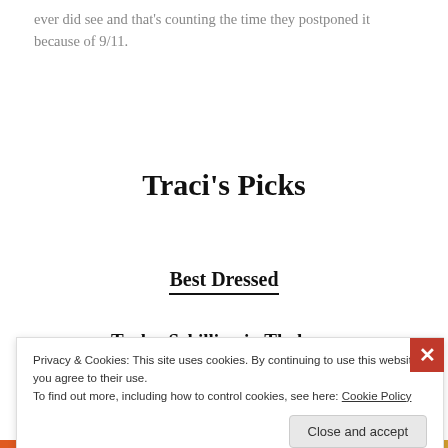ever did see and that's counting the time they postponed it because of 9/11.
Traci's Picks
Best Dressed
Taylor Schilling in Thakoon
[Figure (photo): Photo of Taylor Schilling at the 65th Emmy Awards red carpet, with CBS logos and Emmy trophy visible in the background]
Privacy & Cookies: This site uses cookies. By continuing to use this website, you agree to their use.
To find out more, including how to control cookies, see here: Cookie Policy
Close and accept